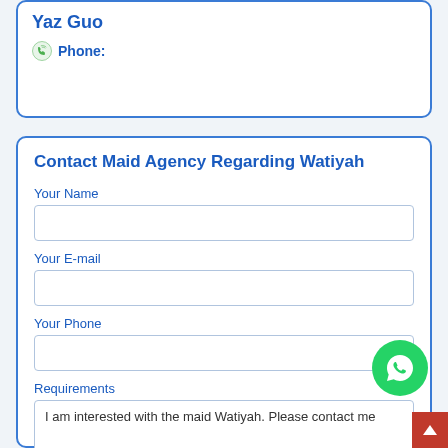Yaz Guo
Phone:
Contact Maid Agency Regarding Watiyah
Your Name
Your E-mail
Your Phone
Requirements
I am interested with the maid Watiyah. Please contact me